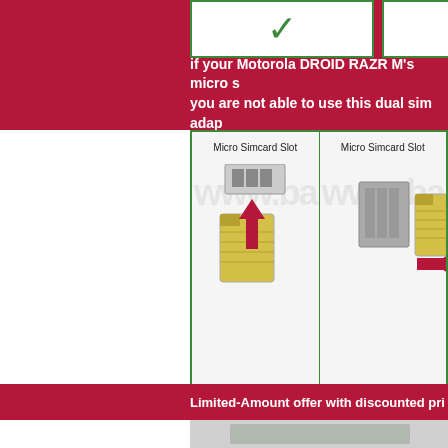[Figure (infographic): Top strip showing two white cells with green checkmarks on a dark red background]
if your Motorola DROID RAZR M's micro s... you are not able to use this dual sim adap...
[Figure (infographic): Two-panel diagram showing Micro Simcard Slot with SIM card and inserting direction arrows, each panel ending with a red X mark indicating incorrect insertion]
Limited-Amount offer with discounted pri...
[Figure (photo): Bottom partial image strip]